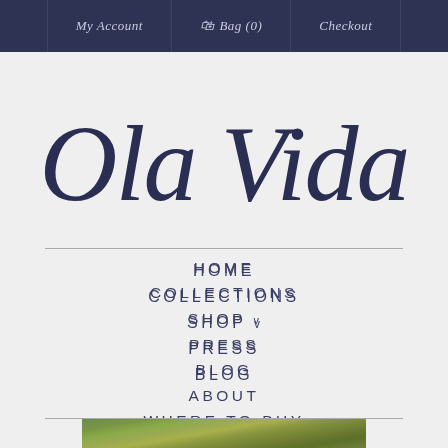My Account | Bag (0) | Checkout
Ola Vida
HOME
COLLECTIONS
SHOP v
PRESS
BLOG
ABOUT
WHERE TO BUY
CONTACT
[Figure (photo): A partial view of a greenish-yellow textured surface at the bottom of the page, resembling water or fabric]